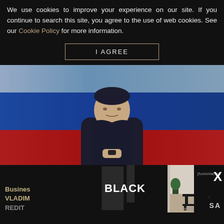We use cookies to improve your experience on our site. If you continue to search this site, you agree to the use of web cookies. See our Cookie Policy for more information.
I AGREE
[Figure (photo): Person in dark jacket with white turtleneck standing in front of a blurred Russian flag background]
[Figure (screenshot): Bottom strip showing partial text: Business, VLADIMIR, REDIT alongside a BLACK advertisement and a luxury room interior photo and fusiontablesX badge with SA label]